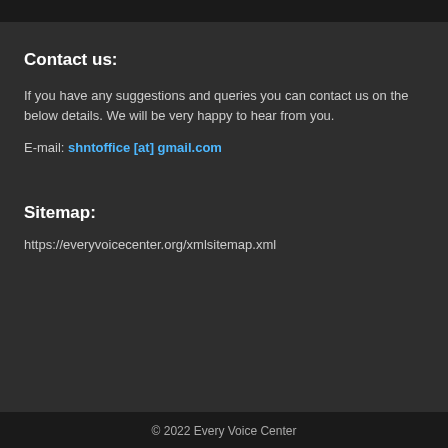Contact us:
If you have any suggestions and queries you can contact us on the below details. We will be very happy to hear from you.
E-mail: shntoffice [at] gmail.com
Sitemap:
https://everyvoicecenter.org/xmlsitemap.xml
© 2022 Every Voice Center